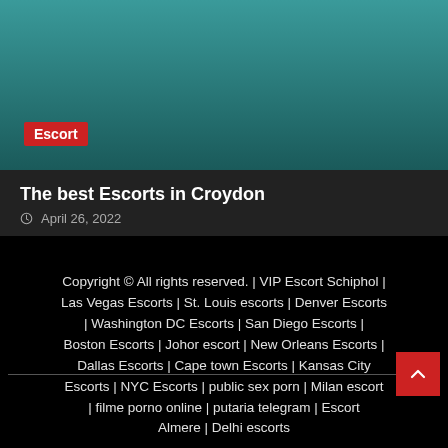[Figure (photo): Partial photo of a person reclining on a teal/turquoise surface, with an 'Escort' red badge overlay]
The best Escorts in Croydon
April 26, 2022
Copyright © All rights reserved. | VIP Escort Schiphol | Las Vegas Escorts | St. Louis escorts | Denver Escorts | Washington DC Escorts | San Diego Escorts | Boston Escorts | Johor escort | New Orleans Escorts | Dallas Escorts | Cape town Escorts | Kansas City Escorts | NYC Escorts | public sex porn | Milan escort | filme porno online | putaria telegram | Escort Almere | Delhi escorts